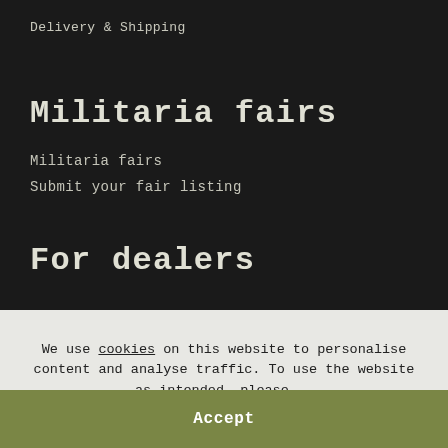Delivery & Shipping
Militaria fairs
Militaria fairs
Submit your fair listing
For dealers
We use cookies on this website to personalise content and analyse traffic. To use the website as intended, please...
Accept